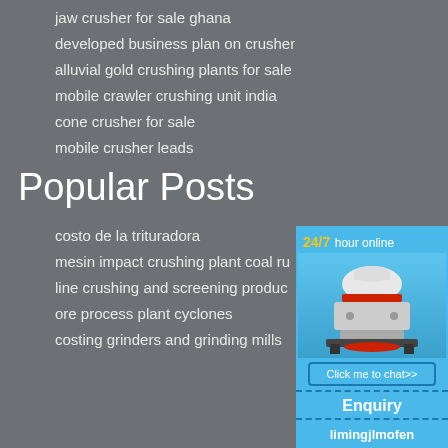jaw crusher for sale ghana
developed business plan on crusher
alluvial gold crushing plants for sale
mobile crawler crushing unit india
cone crusher for sale
mobile crusher leads
Popular Posts
costo de la trituradora
mesin impact crushing plant coal ru
line crushing and screening produc
ore process plant cyclones
costing grinders and grinding mills
[Figure (infographic): Sidebar widget with blue background showing '24/7 hour online' text, an industrial cone crusher machine image, a 'Click me to chat>>' button, an 'Enquiry' section, and 'limingjlmofen' text at the bottom, all separated by dashed lines.]